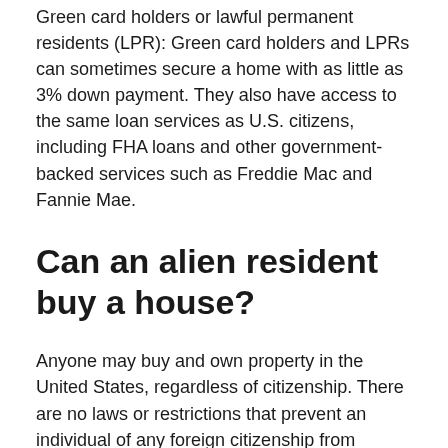Green card holders or lawful permanent residents (LPR): Green card holders and LPRs can sometimes secure a home with as little as 3% down payment. They also have access to the same loan services as U.S. citizens, including FHA loans and other government-backed services such as Freddie Mac and Fannie Mae.
Can an alien resident buy a house?
Anyone may buy and own property in the United States, regardless of citizenship. There are no laws or restrictions that prevent an individual of any foreign citizenship from owning or buying a home in the U.S.